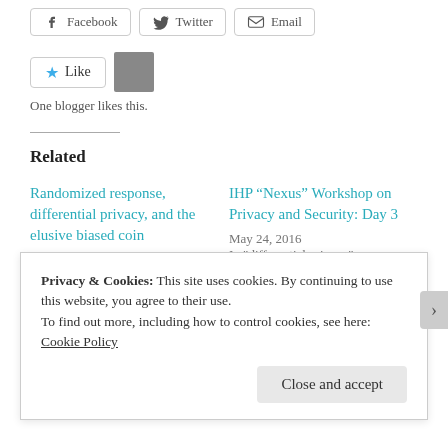[Figure (other): Share buttons: Facebook, Twitter, Email]
[Figure (other): Like button with star icon and blogger avatar thumbnail]
One blogger likes this.
Related
Randomized response, differential privacy, and the elusive biased coin
December 4, 2015
In "differential privacy"
IHP “Nexus” Workshop on Privacy and Security: Day 3
May 24, 2016
In "differential privacy"
Paper a day(?) : optimal
Privacy & Cookies: This site uses cookies. By continuing to use this website, you agree to their use.
To find out more, including how to control cookies, see here: Cookie Policy
Close and accept